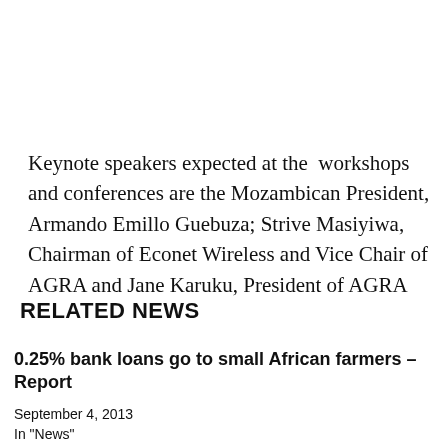Keynote speakers expected at the  workshops and conferences are the Mozambican President, Armando Emillo Guebuza; Strive Masiyiwa, Chairman of Econet Wireless and Vice Chair of AGRA and Jane Karuku, President of AGRA
RELATED NEWS
0.25% bank loans go to small African farmers – Report
September 4, 2013
In "News"